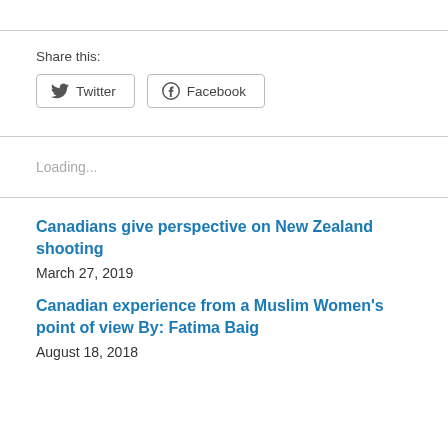Share this:
Twitter  Facebook
Loading...
Canadians give perspective on New Zealand shooting
March 27, 2019
Canadian experience from a Muslim Women's point of view By: Fatima Baig
August 18, 2018